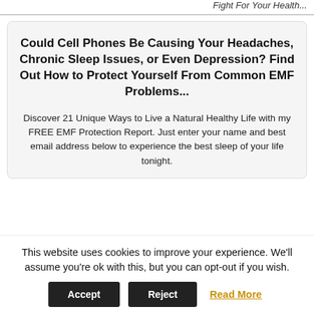Fight For Your Health...
Could Cell Phones Be Causing Your Headaches, Chronic Sleep Issues, or Even Depression? Find Out How to Protect Yourself From Common EMF Problems...
Discover 21 Unique Ways to Live a Natural Healthy Life with my FREE EMF Protection Report. Just enter your name and best email address below to experience the best sleep of your life tonight.
This website uses cookies to improve your experience. We'll assume you're ok with this, but you can opt-out if you wish.
Accept  Reject  Read More